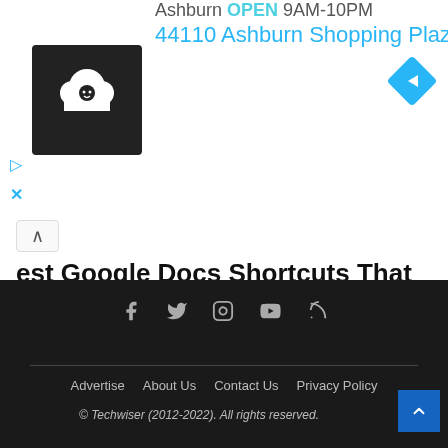[Figure (screenshot): Advertisement banner showing a restaurant or business listing. Shows logo (chef icon on black background), address '44110 Ashburn Shopping Plaza, ..', status 'OPEN', hours '9AM-10PM', a blue direction diamond icon, play and close buttons.]
Best Google Docs Shortcuts That Everyone Must Know
December 20, 2020
Social icons: Facebook, Twitter, Instagram, YouTube, RSS. Links: Advertise, About Us, Contact Us, Privacy Policy. © Techwiser (2012-2022). All rights reserved.